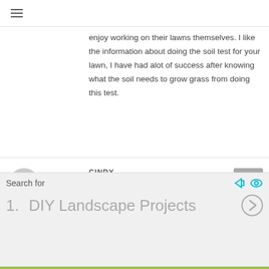≡
enjoy working on their lawns themselves. I like the information about doing the soil test for your lawn, I have had alot of success after knowing what the soil needs to grow grass from doing this test.
CINDY
April 8, 2013 at 6:38 pm
I have a small hill. I like to walk and the hill is at the end of my walk but Im afraid
Search for
1.  DIY Landscape Projects